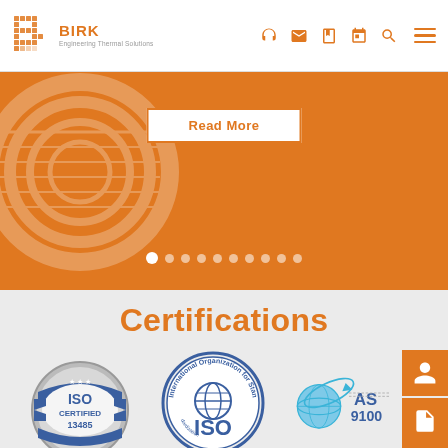[Figure (logo): Birk Engineering Thermal Solutions logo with orange B icon and text]
[Figure (screenshot): Orange banner with Read More button and carousel dots]
Certifications
[Figure (logo): ISO Certified 13485 badge - blue/silver circular badge]
[Figure (logo): International Organization for Standardization ISO 9001 circular logo]
[Figure (logo): AS 9100 aerospace certification logo with globe/orbit icon]